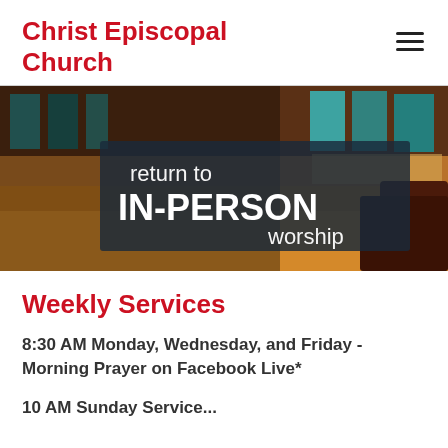Christ Episcopal Church
[Figure (photo): Banner image showing church interior with stained glass windows and text overlay reading 'return to IN-PERSON worship']
Weekly Services
8:30 AM Monday, Wednesday, and Friday - Morning Prayer on Facebook Live*
10 AM Sunday Service...